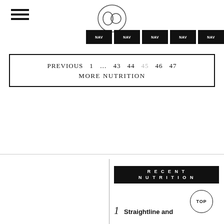[Figure (logo): Hamburger menu icon (three horizontal bars) at top left]
[Figure (logo): Circular logo/emblem in center top of page]
[Figure (other): Five black navigation/category button tabs at top right]
PREVIOUS  1  ...  43  44  45  46  47
MORE NUTRITION
[Figure (other): RECENT NUTRITION black header box]
[Figure (other): TOP circle button]
1   Straightline and